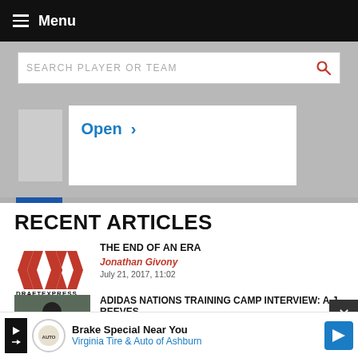Menu
SEARCH PLAYER OR TEAM
[Figure (screenshot): Ad area with Open > link]
RECENT ARTICLES
[Figure (logo): DraftExpress logo — red DX chevron marks with DRAFTEXPRESS wordmark below]
THE END OF AN ERA
Jonathan Givony
July 21, 2017, 11:02
[Figure (photo): Photo of a young basketball player at Adidas Nations Training Camp holding a microphone]
ADIDAS NATIONS TRAINING CAMP INTERVIEW: A.J. REEVES
DraftExpress
July 05, 2017, 00:25
Brake Special Near You Virginia Tire & Auto of Ashburn